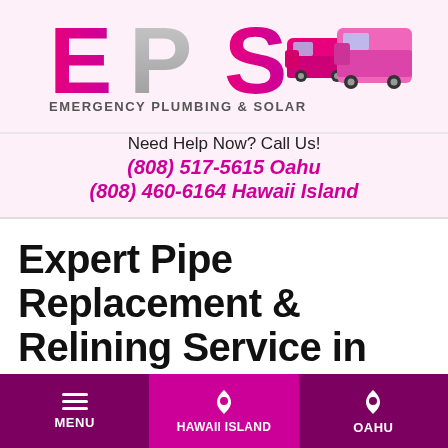[Figure (logo): EPS Emergency Plumbing & Solar logo with pink branded vehicles on right side]
Need Help Now? Call Us!
(808) 517-5615 Oahu
(808) 460-6164 Hawaii Island
Expert Pipe Replacement & Relining Service in Honolulu, Kapolei & Entire
MENU | HAWAII ISLAND | OAHU